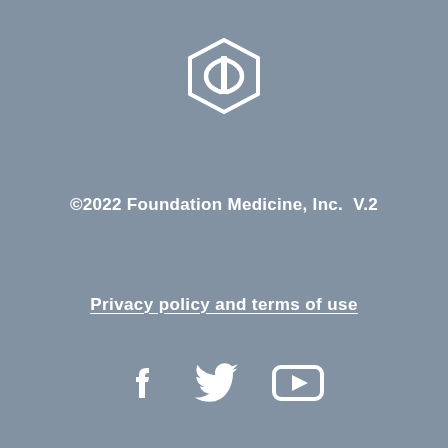[Figure (logo): Foundation Medicine hexagonal logo in white outline]
©2022 Foundation Medicine, Inc. V.2
Privacy policy and terms of use
[Figure (illustration): Social media icons: Facebook, Twitter, YouTube in white]